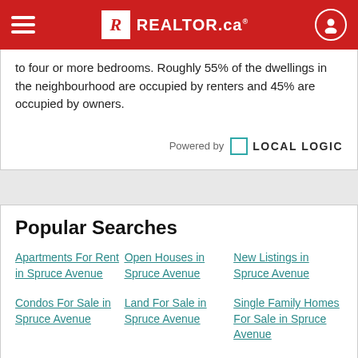REALTOR.ca navigation bar
to four or more bedrooms. Roughly 55% of the dwellings in the neighbourhood are occupied by renters and 45% are occupied by owners.
[Figure (logo): Powered by LOCAL LOGIC logo]
Popular Searches
Apartments For Rent in Spruce Avenue
Open Houses in Spruce Avenue
New Listings in Spruce Avenue
Condos For Sale in Spruce Avenue
Land For Sale in Spruce Avenue
Single Family Homes For Sale in Spruce Avenue
Real Estate Listings For Rent in Spruce Avenue
Multi Family Homes For Sale in Spruce Avenue